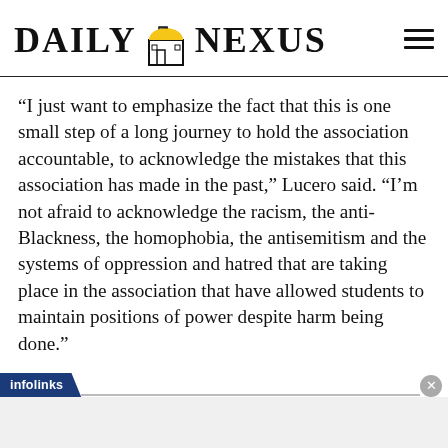Daily Nexus
“I just want to emphasize the fact that this is one small step of a long journey to hold the association accountable, to acknowledge the mistakes that this association has made in the past,” Lucero said. “I’m not afraid to acknowledge the racism, the anti-Blackness, the homophobia, the antisemitism and the systems of oppression and hatred that are taking place in the association that have allowed students to maintain positions of power despite harm being done.”
[Figure (other): Infolinks advertisement bar with close button and gray ad area below]